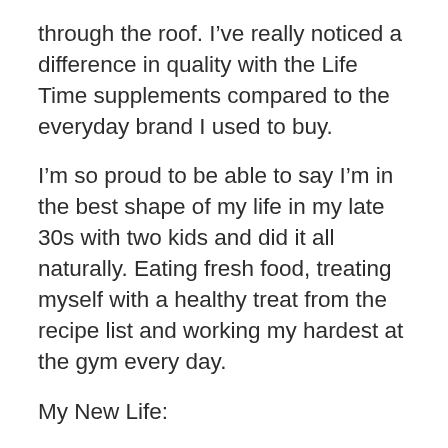through the roof. I've really noticed a difference in quality with the Life Time supplements compared to the everyday brand I used to buy.
I'm so proud to be able to say I'm in the best shape of my life in my late 30s with two kids and did it all naturally. Eating fresh food, treating myself with a healthy treat from the recipe list and working my hardest at the gym every day.
My New Life:
Now that I reached my goal on the scale, I'm looking forward to maintaining my size, decreasing my body fat a bit more and gaining more strength and muscle.
My why is about getting up in the morning with more energy, fueling my body with nutritious food and living the life at home with my family all day.